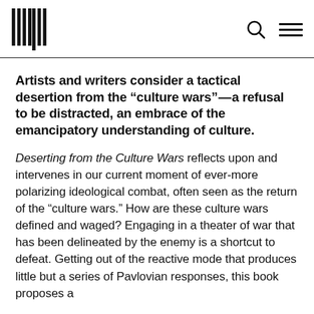[Logo] [Search icon] [Menu icon]
Artists and writers consider a tactical desertion from the “culture wars”—a refusal to be distracted, an embrace of the emancipatory understanding of culture.
Deserting from the Culture Wars reflects upon and intervenes in our current moment of ever-more polarizing ideological combat, often seen as the return of the “culture wars.” How are these culture wars defined and waged? Engaging in a theater of war that has been delineated by the enemy is a shortcut to defeat. Getting out of the reactive mode that produces little but a series of Pavlovian responses, this book proposes a